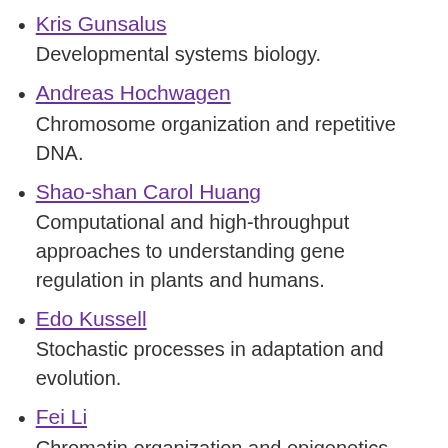Kris Gunsalus
Developmental systems biology.
Andreas Hochwagen
Chromosome organization and repetitive DNA.
Shao-shan Carol Huang
Computational and high-throughput approaches to understanding gene regulation in plants and humans.
Edo Kussell
Stochastic processes in adaptation and evolution.
Fei Li
Chromatin organization and epigenetics.
Esteban Mazzoni
Stem cell biology, cell fate differentiation